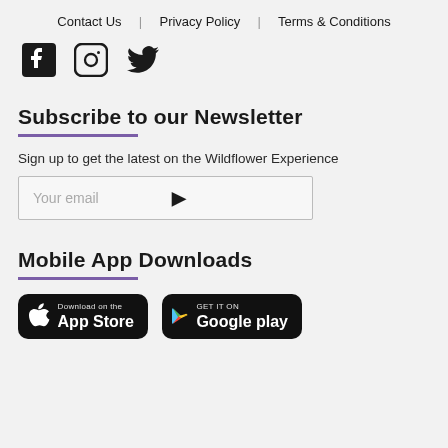Contact Us  |  Privacy Policy  |  Terms & Conditions
[Figure (illustration): Social media icons: Facebook, Instagram, Twitter]
Subscribe to our Newsletter
Sign up to get the latest on the Wildflower Experience
[Figure (other): Email input field with arrow submit button, placeholder text 'Your email']
Mobile App Downloads
[Figure (other): App Store and Google Play download buttons]